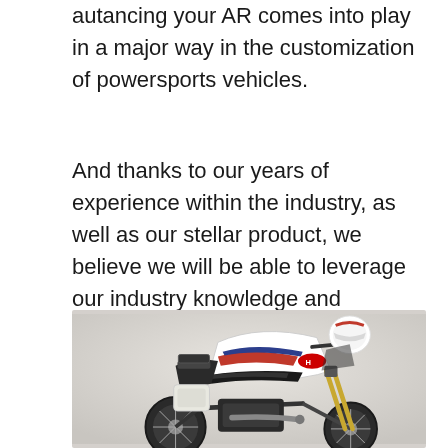…autancing your AR comes into play in a major way in the customization of powersports vehicles.
And thanks to our years of experience within the industry, as well as our stellar product, we believe we will be able to leverage our industry knowledge and relationships to make the marriage between AR and powersports a reality.
[Figure (photo): A Honda adventure motorcycle (Africa Twin style) in white, red, and blue color scheme, with a rider wearing a white helmet, photographed against a light grey background.]